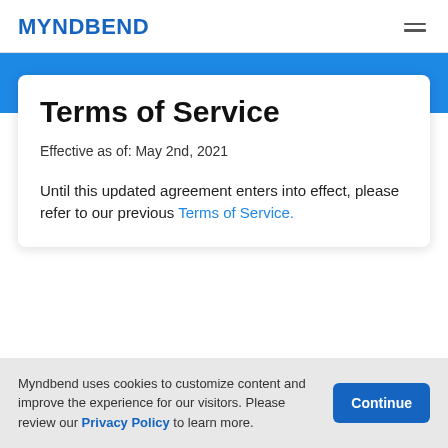MYNDBEND
Terms of Service
Effective as of: May 2nd, 2021
Until this updated agreement enters into effect, please refer to our previous Terms of Service.
Myndbend uses cookies to customize content and improve the experience for our visitors. Please review our Privacy Policy to learn more.